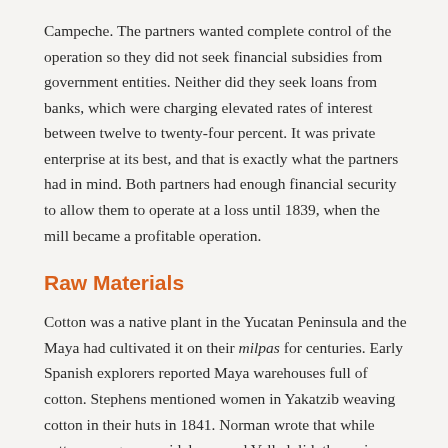Campeche. The partners wanted complete control of the operation so they did not seek financial subsidies from government entities. Neither did they seek loans from banks, which were charging elevated rates of interest between twelve to twenty-four percent. It was private enterprise at its best, and that is exactly what the partners had in mind. Both partners had enough financial security to allow them to operate at a loss until 1839, when the mill became a profitable operation.
Raw Materials
Cotton was a native plant in the Yucatan Peninsula and the Maya had cultivated it on their milpas for centuries. Early Spanish explorers reported Maya warehouses full of cotton. Stephens mentioned women in Yakatzib weaving cotton in their huts in 1841. Norman wrote that while cotton was grown widely around Valladolid, the major cotton producing area was in the Tizimin district, north of Valladolid. He went on to describe the cotton as superior in both color and texture. Baranda had the local cotton analyzed and discovered that twenty-eight percent of the raw cotton was fiber and the rest was primarily seeds. Cotton with